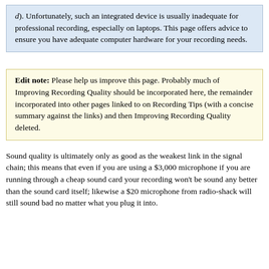d). Unfortunately, such an integrated device is usually inadequate for professional recording, especially on laptops. This page offers advice to ensure you have adequate computer hardware for your recording needs.
Edit note: Please help us improve this page. Probably much of Improving Recording Quality should be incorporated here, the remainder incorporated into other pages linked to on Recording Tips (with a concise summary against the links) and then Improving Recording Quality deleted.
Sound quality is ultimately only as good as the weakest link in the signal chain; this means that even if you are using a $3,000 microphone if you are running through a cheap sound card your recording won't be sound any better than the sound card itself; likewise a $20 microphone from radio-shack will still sound bad no matter what you plug it into.